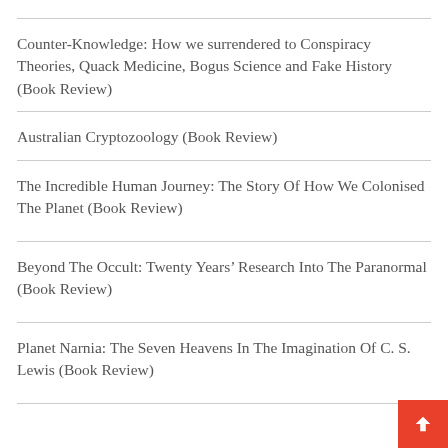Counter-Knowledge: How we surrendered to Conspiracy Theories, Quack Medicine, Bogus Science and Fake History (Book Review)
Australian Cryptozoology (Book Review)
The Incredible Human Journey: The Story Of How We Colonised The Planet (Book Review)
Beyond The Occult: Twenty Years' Research Into The Paranormal (Book Review)
Planet Narnia: The Seven Heavens In The Imagination Of C. S. Lewis (Book Review)